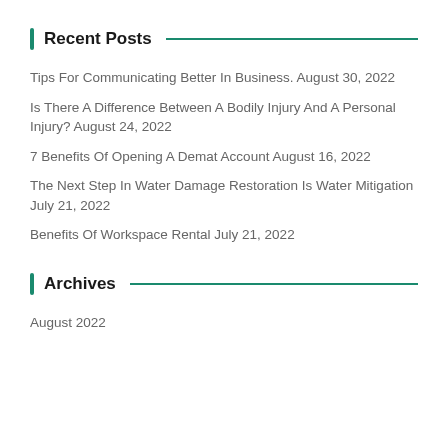Recent Posts
Tips For Communicating Better In Business. August 30, 2022
Is There A Difference Between A Bodily Injury And A Personal Injury? August 24, 2022
7 Benefits Of Opening A Demat Account August 16, 2022
The Next Step In Water Damage Restoration Is Water Mitigation July 21, 2022
Benefits Of Workspace Rental July 21, 2022
Archives
August 2022